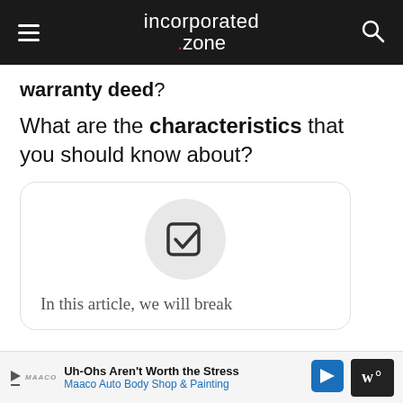incorporated.zone
warranty deed?
What are the characteristics that you should know about?
[Figure (illustration): A card with a checkbox/checkmark icon inside a light gray circle, followed by text beginning 'In this article, we will break']
In this article, we will break
Uh-Ohs Aren't Worth the Stress. Maaco Auto Body Shop & Painting